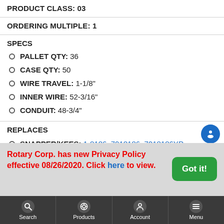PRODUCT CLASS: 03
ORDERING MULTIPLE: 1
SPECS
PALLET QTY: 36
CASE QTY: 50
WIRE TRAVEL: 1-1/8"
INNER WIRE: 52-3/16"
CONDUIT: 48-3/4"
REPLACES
SNAPPER/KEES: 1-8186, 7018186, 7018186YP
WARNINGS
Rotary Corp. has new Privacy Policy effective 08/26/2020. Click here to view.
Search | Products | Account | Menu